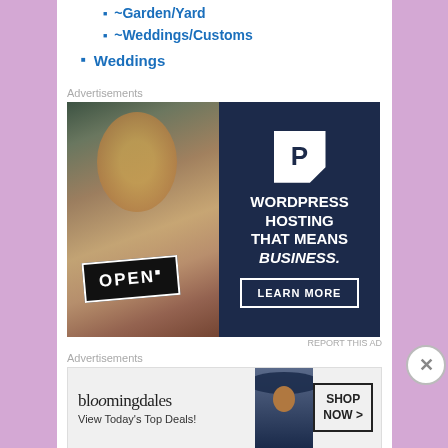~Garden/Yard
~Weddings/Customs
Weddings
Advertisements
[Figure (photo): WordPress hosting advertisement with woman holding OPEN sign and text: WORDPRESS HOSTING THAT MEANS BUSINESS. LEARN MORE]
REPORT THIS AD
Advertisements
[Figure (photo): Bloomingdales advertisement: View Today's Top Deals! SHOP NOW >]